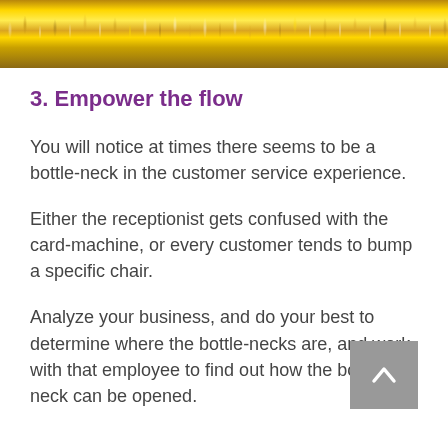[Figure (illustration): Gold/yellow tinsel decoration banner across top of page]
3. Empower the flow
You will notice at times there seems to be a bottle-neck in the customer service experience.
Either the receptionist gets confused with the card-machine, or every customer tends to bump a specific chair.
Analyze your business, and do your best to determine where the bottle-necks are, and work with that employee to find out how the bottle-neck can be opened.